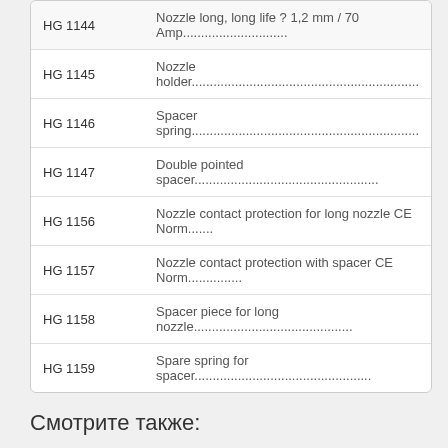| Part No. | Description |
| --- | --- |
| HG 1144 | Nozzle long, long life ? 1,2 mm / 70 Amp....................... |
| HG 1145 | Nozzle holder........................................................... |
| HG 1146 | Spacer spring........................................................... |
| HG 1147 | Double pointed spacer................................................... |
| HG 1156 | Nozzle contact protection for long nozzle CE Norm....... |
| HG 1157 | Nozzle contact protection with spacer CE Norm............... |
| HG 1158 | Spacer piece for long nozzle............................................ |
| HG 1159 | Spare spring for spacer................................................. |
Смотрите также: